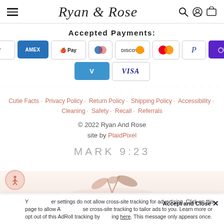Ryan & Rose
Accepted Payments:
[Figure (other): Payment method icons: Amazon, American Express, Apple Pay, Diners Club, Discover, Mastercard, PayPal, Google Pay, Venmo, Visa]
Cutie Facts · Privacy Policy · Return Policy · Shipping Policy · Accessibility · Cleaning · Safety · Recall · Referrals
© 2022 Ryan And Rose
site by PlaidPixel
MARK 9:23
[Figure (illustration): Decorative illustration at bottom of page showing rose/floral motif]
Accept and Close ×
Your browser settings do not allow cross-site tracking for advertising. Click on this page to allow AdRoll to use cross-site tracking to tailor ads to you. Learn more or opt out of this AdRoll tracking by clicking here. This message only appears once.